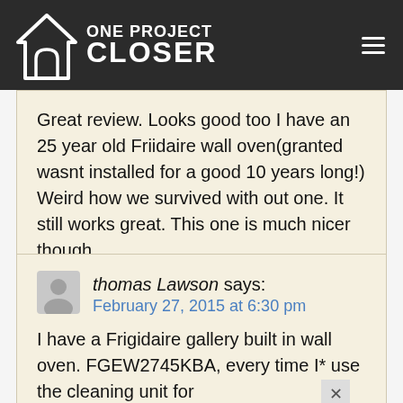[Figure (logo): One Project Closer logo — house icon with the text ONE PROJECT CLOSER on dark background]
Great review. Looks good too I have an 25 year old Friidaire wall oven(granted wasnt installed for a good 10 years long!) Weird how we survived with out one. It still works great. This one is much nicer though.
thomas Lawson says:
February 27, 2015 at 6:30 pm
I have a Frigidaire gallery built in wall oven. FGEW2745KBA, every time I* use the cleaning unit for
about 1 1/2 hrs. it cleans well, but the thermal unit breaker